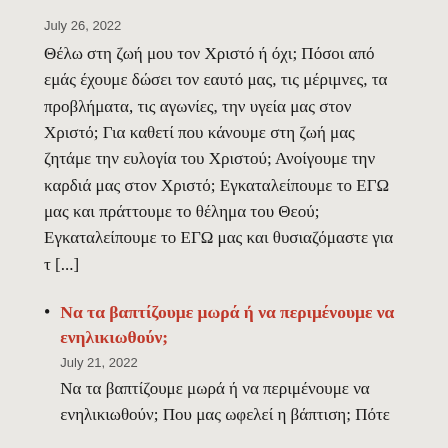July 26, 2022
Θέλω στη ζωή μου τον Χριστό ή όχι; Πόσοι από εμάς έχουμε δώσει τον εαυτό μας, τις μέριμνες, τα προβλήματα, τις αγωνίες, την υγεία μας στον Χριστό; Για καθετί που κάνουμε στη ζωή μας ζητάμε την ευλογία του Χριστού; Ανοίγουμε την καρδιά μας στον Χριστό; Εγκαταλείπουμε το ΕΓΩ μας και πράττουμε το θέλημα του Θεού; Εγκαταλείπουμε το ΕΓΩ μας και θυσιαζόμαστε για τ [...]
Να τα βαπτίζουμε μωρά ή να περιμένουμε να ενηλικιωθούν;
July 21, 2022
Να τα βαπτίζουμε μωρά ή να περιμένουμε να ενηλικιωθούν; Που μας ωφελεί η βάπτιση; Πότε